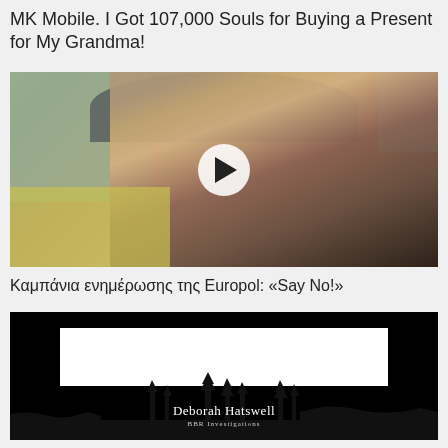MK Mobile. I Got 107,000 Souls for Buying a Present for My Grandma!
[Figure (screenshot): Video thumbnail showing a young woman wearing a grey knit beanie hat, looking downward, with a blurred outdoor background. A white circular play button is centered on the image.]
Καμπάνια ενημέρωσης της Europol: «Say No!»
[Figure (screenshot): Video thumbnail with black background showing a white banner with black tree silhouette and text 'Deborah Hatswell BBR Investigations'.]